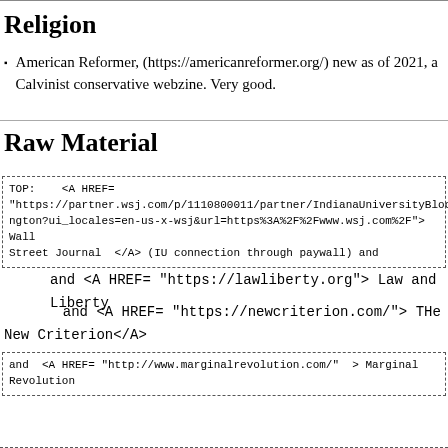Religion
American Reformer, (https://americanreformer.org/) new as of 2021, a Calvinist conservative webzine. Very good.
Raw Material
TOP:    <A HREF= "https://partner.wsj.com/p/1110800011/partner/IndianaUniversityBloomington?ui_locales=en-us-x-wsj&url=https%3A%2F%2Fwww.wsj.com%2F"> Wall Street Journal  </A> (IU connection through paywall) and
and <A HREF= "https://lawliberty.org"> Law and Liberty
and <A HREF= "https://newcriterion.com/"> THe New Criterion</A>
and  <A HREF= "http://www.marginalrevolution.com/"  > Marginal Revolution